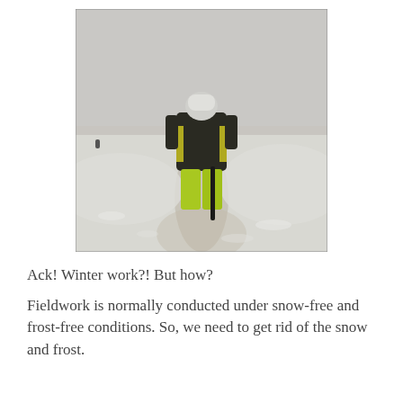[Figure (photo): A person wearing a dark jacket with yellow/hi-viz accents and bright yellow-green trousers, standing in a snowy field holding what appears to be a tool or equipment. The sky is grey and overcast. The scene shows winter fieldwork conditions with snow covering the ground.]
Ack! Winter work?! But how?
Fieldwork is normally conducted under snow-free and frost-free conditions. So, we need to get rid of the snow and frost.